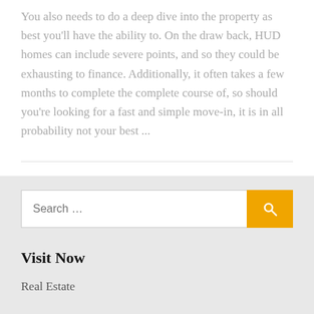You also needs to do a deep dive into the property as best you'll have the ability to. On the draw back, HUD homes can include severe points, and so they could be exhausting to finance. Additionally, it often takes a few months to complete the complete course of, so should you're looking for a fast and simple move-in, it is in all probability not your best ...
Search ...
Visit Now
Real Estate